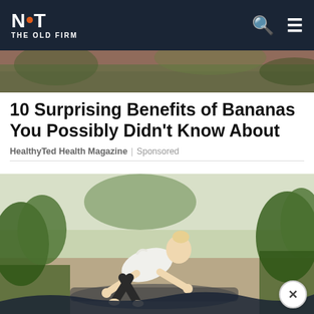NOT THE OLD FIRM
[Figure (photo): Partial top image showing outdoor scene with plants and a person]
10 Surprising Benefits of Bananas You Possibly Didn't Know About
HealthyTed Health Magazine | Sponsored
[Figure (photo): Woman in athletic wear doing a push-up or mountain climber pose on a yoga mat outdoors in a garden setting with green plants]